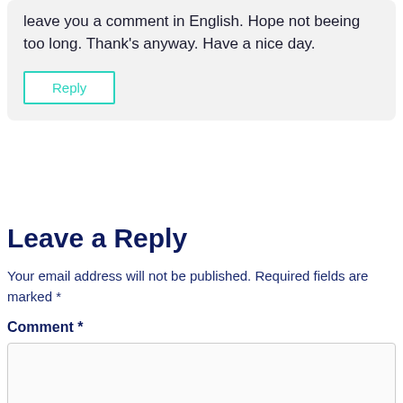leave you a comment in English. Hope not beeing too long. Thank's anyway. Have a nice day.
Reply
Leave a Reply
Your email address will not be published. Required fields are marked *
Comment *